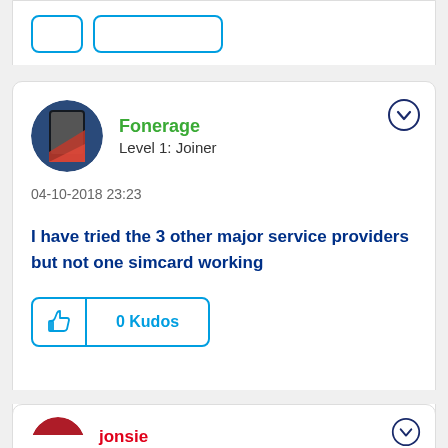[Figure (other): Top card partial — showing bottom portion with two button outlines (cut off at top of page)]
Fonerage
Level 1: Joiner
04-10-2018 23:23
I have tried the 3 other major service providers but not one simcard working
0 Kudos
jonsie
Level 94: Supreme